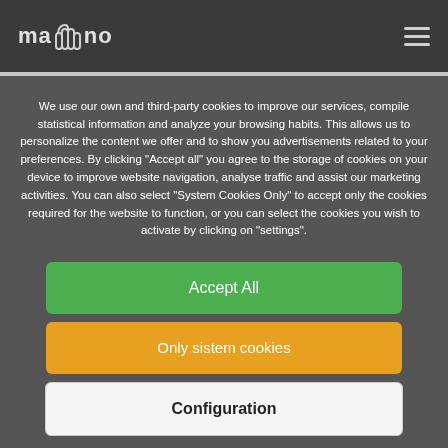mano (logo with hand icon) — hamburger menu
We use our own and third-party cookies to improve our services, compile statistical information and analyze your browsing habits. This allows us to personalize the content we offer and to show you advertisements related to your preferences. By clicking "Accept all" you agree to the storage of cookies on your device to improve website navigation, analyse traffic and assist our marketing activities. You can also select "System Cookies Only" to accept only the cookies required for the website to function, or you can select the cookies you wish to activate by clicking on "settings".
Accept All
Only sistem cookies
Configuration